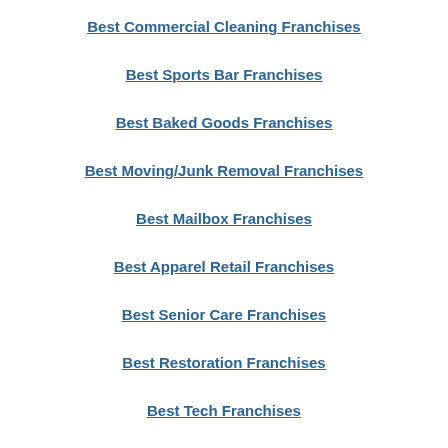Best Commercial Cleaning Franchises
Best Sports Bar Franchises
Best Baked Goods Franchises
Best Moving/Junk Removal Franchises
Best Mailbox Franchises
Best Apparel Retail Franchises
Best Senior Care Franchises
Best Restoration Franchises
Best Tech Franchises